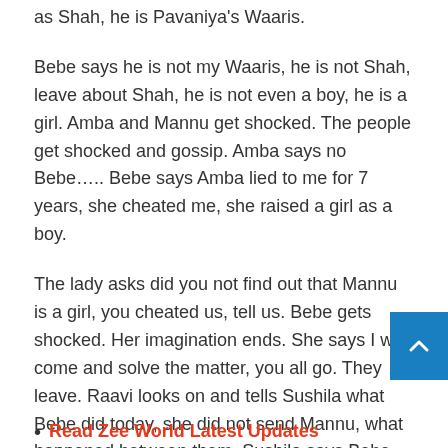as Shah, he is Pavaniya's Waaris.
Bebe says he is not my Waaris, he is not Shah, leave about Shah, he is not even a boy, he is a girl. Amba and Mannu get shocked. The people get shocked and gossip. Amba says no Bebe….. Bebe says Amba lied to me for 7 years, she cheated me, she raised a girl as a boy.
The lady asks did you not find out that Mannu is a girl, you cheated us, tell us. Bebe gets shocked. Her imagination ends. She says I will come and solve the matter, you all go. They leave. Raavi looks on and tells Sushila what Bebe did today, she did not send Mannu, what happened between them. Sushila says Bebe got to know, Jagan you get to work. More Update Coming Soon!
Read Zee World Latest Updates